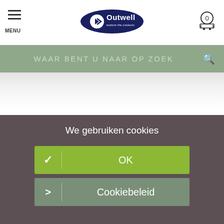[Figure (logo): Outwell brand logo - dark blue oval with stylized arrow and 'Outwell explore the outdoors' text]
MENU
WAAR BENT U NAAR OP ZOEK
We gebruiken cookies
✓ | OK
> | Cookiebeleid